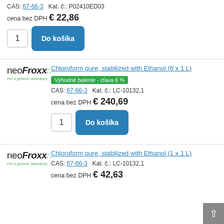CAS: 67-66-3   Kat. č.: P02410ED03
cena bez DPH € 22,86
1   Do košíka
[Figure (logo): neoFroxx For a greener laboratory logo]
Chloroform pure, stabilized with Ethanol (6 x 1 L)
Výhodné balenie - zľava 6 %
CAS: 67-66-3   Kat. č.: LC-10132,1
cena bez DPH € 240,69
1   Do košíka
[Figure (logo): neoFroxx For a greener laboratory logo]
Chloroform pure, stabilized with Ethanol (1 x 1 L)
CAS: 67-66-3   Kat. č.: LC-10132,1
cena bez DPH € 42,63